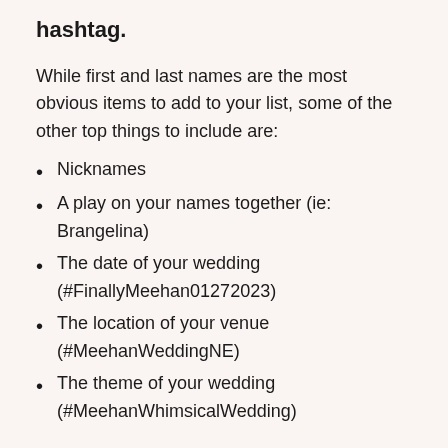hashtag.
While first and last names are the most obvious items to add to your list, some of the other top things to include are:
Nicknames
A play on your names together (ie: Brangelina)
The date of your wedding (#FinallyMeehan01272023)
The location of your venue (#MeehanWeddingNE)
The theme of your wedding (#MeehanWhimsicalWedding)